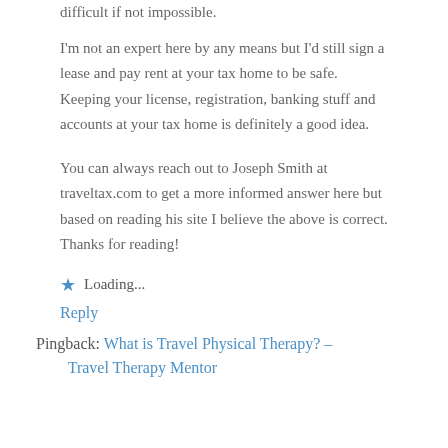difficult if not impossible.
I'm not an expert here by any means but I'd still sign a lease and pay rent at your tax home to be safe. Keeping your license, registration, banking stuff and accounts at your tax home is definitely a good idea.
You can always reach out to Joseph Smith at traveltax.com to get a more informed answer here but based on reading his site I believe the above is correct. Thanks for reading!
⭐ Loading...
Reply
Pingback: What is Travel Physical Therapy? – Travel Therapy Mentor